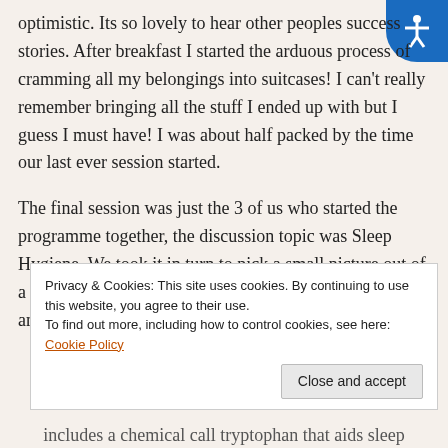optimistic. Its so lovely to hear other peoples success stories. After breakfast I started the arduous process of cramming all my belongings into suitcases! I can't really remember bringing all the stuff I ended up with but I guess I must have! I was about half packed by the time our last ever session started.
The final session was just the 3 of us who started the programme together, the discussion topic was Sleep Hygiene. We took it in turn to pick a small picture out of a plastic wallet, we then discussed the item on the picture and sorted them into heaps of 'good' for sleep...
Privacy & Cookies: This site uses cookies. By continuing to use this website, you agree to their use.
To find out more, including how to control cookies, see here: Cookie Policy
Close and accept
includes a chemical call tryptophan that aids sleep...